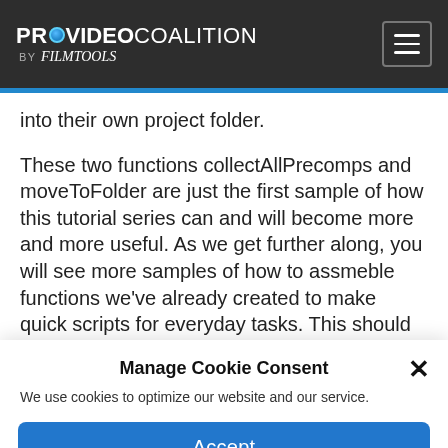PROVIDEO COALITION by Filmtools
into their own project folder.
These two functions collectAllPrecomps and moveToFolder are just the first sample of how this tutorial series can and will become more and more useful. As we get further along, you will see more samples of how to assmeble functions we've already created to make quick scripts for everyday tasks. This should then help
Manage Cookie Consent
We use cookies to optimize our website and our service.
Accept